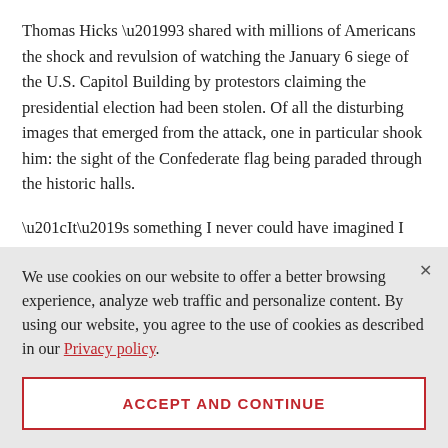Thomas Hicks ’93 shared with millions of Americans the shock and revulsion of watching the January 6 siege of the U.S. Capitol Building by protestors claiming the presidential election had been stolen. Of all the disturbing images that emerged from the attack, one in particular shook him: the sight of the Confederate flag being paraded through the historic halls.
“It’s something I never could have imagined I would see,” he says. “Honestly, I don’t know how we heal.”
We use cookies on our website to offer a better browsing experience, analyze web traffic and personalize content. By using our website, you agree to the use of cookies as described in our Privacy policy.
ACCEPT AND CONTINUE